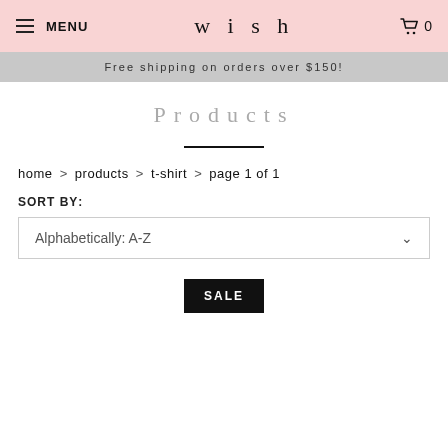MENU  wish  0
Free shipping on orders over $150!
Products
home > products > t-shirt > page 1 of 1
SORT BY:
Alphabetically: A-Z
SALE